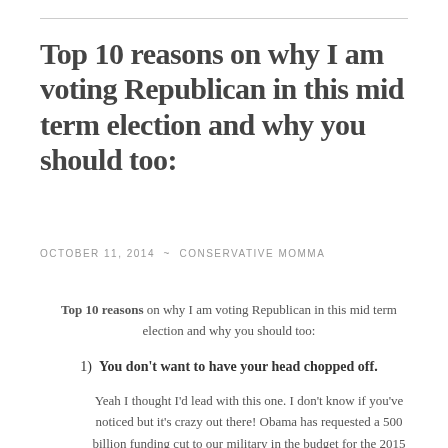Top 10 reasons on why I am voting Republican in this mid term election and why you should too:
OCTOBER 11, 2014 ~ CONSERVATIVE MOMMA
Top 10 reasons on why I am voting Republican in this mid term election and why you should too:
1)  You don't want to have your head chopped off.
Yeah I thought I'd lead with this one. I don't know if you've noticed but it's crazy out there! Obama has requested a 500 billion funding cut to our military in the budget for the 2015 fiscal year. I get we now fight with drones and rarely boots are put on the ground